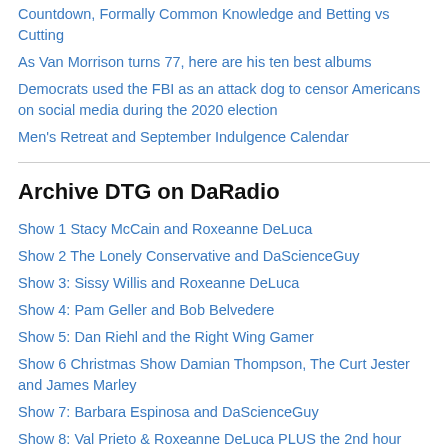Countdown, Formally Common Knowledge and Betting vs Cutting
As Van Morrison turns 77, here are his ten best albums
Democrats used the FBI as an attack dog to censor Americans on social media during the 2020 election
Men's Retreat and September Indulgence Calendar
Archive DTG on DaRadio
Show 1 Stacy McCain and Roxeanne DeLuca
Show 2 The Lonely Conservative and DaScienceGuy
Show 3: Sissy Willis and Roxeanne DeLuca
Show 4: Pam Geller and Bob Belvedere
Show 5: Dan Riehl and the Right Wing Gamer
Show 6 Christmas Show Damian Thompson, The Curt Jester and James Marley
Show 7: Barbara Espinosa and DaScienceGuy
Show 8: Val Prieto & Roxeanne DeLuca PLUS the 2nd hour special on Arizona with McCain, Weston & Espinosa
Show 9: Glenn Reynolds & Roxeanne DeLuca